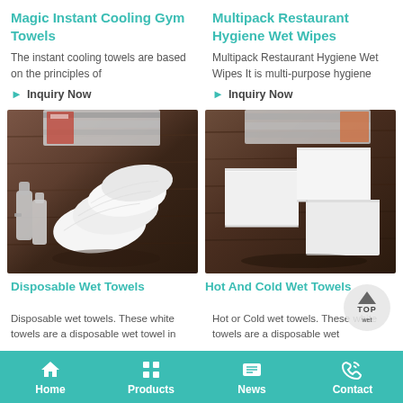Magic Instant Cooling Gym Towels
The instant cooling towels are based on the principles of
Inquiry Now
Multipack Restaurant Hygiene Wet Wipes
Multipack Restaurant Hygiene Wet Wipes It is multi-purpose hygiene
Inquiry Now
[Figure (photo): Disposable wet towels fanned out on a wooden surface with magazines and spray bottles in background]
[Figure (photo): Hot and cold wet towels arranged on a dark wooden surface with magazine in background]
Disposable Wet Towels
Disposable wet towels. These white towels are a disposable wet towel in
Hot And Cold Wet Towels
Hot or Cold wet towels. These white towels are a disposable wet
Home  Products  News  Contact